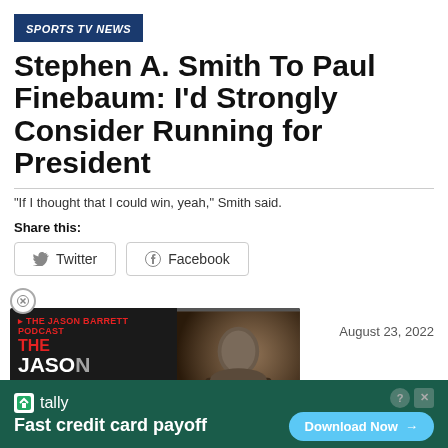SPORTS TV NEWS
Stephen A. Smith To Paul Finebaum: I'd Strongly Consider Running for President
"If I thought that I could win, yeah," Smith said.
Share this:
[Figure (screenshot): Twitter and Facebook share buttons]
[Figure (screenshot): Popup overlay showing The Jason Barrett Podcast card and Jim Rome Got Finebaum Show banner, with date August 23, 2022]
[Figure (infographic): Tally advertisement banner: Fast credit card payoff, Download Now button]